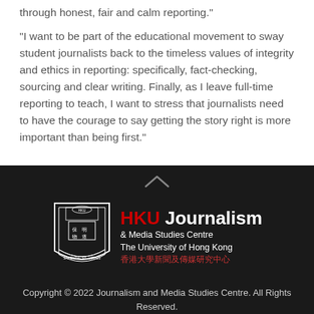through honest, fair and calm reporting."
"I want to be part of the educational movement to sway student journalists back to the timeless values of integrity and ethics in reporting: specifically, fact-checking, sourcing and clear writing. Finally, as I leave full-time reporting to teach, I want to stress that journalists need to have the courage to say getting the story right is more important than being first."
[Figure (logo): HKU Journalism & Media Studies Centre logo — university shield on the left, text on the right reading 'HKU Journalism & Media Studies Centre, The University of Hong Kong, 香港大學新聞及傳媒研究中心']
Copyright © 2022 Journalism and Media Studies Centre. All Rights Reserved.